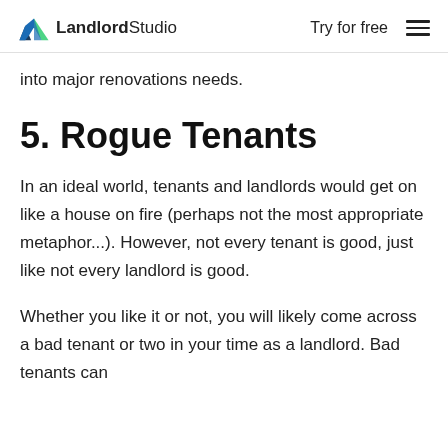LandlordStudio | Try for free
into major renovations needs.
5. Rogue Tenants
In an ideal world, tenants and landlords would get on like a house on fire (perhaps not the most appropriate metaphor...). However, not every tenant is good, just like not every landlord is good.
Whether you like it or not, you will likely come across a bad tenant or two in your time as a landlord. Bad tenants can